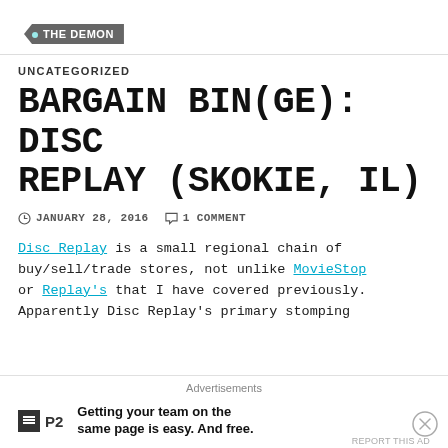THE DEMON
UNCATEGORIZED
BARGAIN BIN(GE): DISC REPLAY (SKOKIE, IL)
JANUARY 28, 2016   1 COMMENT
Disc Replay is a small regional chain of buy/sell/trade stores, not unlike MovieStop or Replay's that I have covered previously. Apparently Disc Replay's primary stomping
[Figure (other): Advertisement banner: P2 logo with tagline 'Getting your team on the same page is easy. And free.']